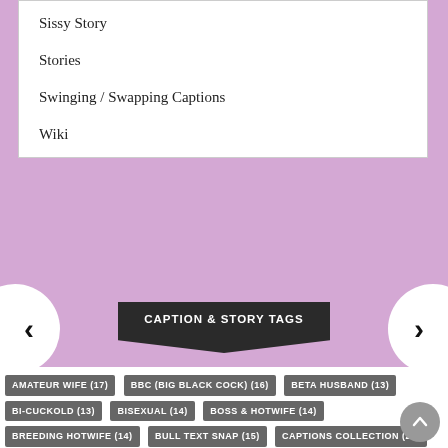Sissy Story
Stories
Swinging / Swapping Captions
Wiki
CAPTION & STORY TAGS
AMATEUR WIFE (17) BBC (BIG BLACK COCK) (16) BETA HUSBAND (13) BI-CUCKOLD (13) BISEXUAL (14) BOSS & HOTWIFE (14) BREEDING HOTWIFE (14) BULL TEXT SNAP (15) CAPTIONS COLLECTION (29) CHASTITY CAGE (59) CHASTITY CAPTION (38) CHASTITY INSTRUCTIONS (18) CHASTITY STORY (15) CHASTITY TRAINING (17) CHEATING WIFE GIRLFRIEND (20) CHRISTMAS (28) CUCKOLD CAPTION (59) CUCKOLD DENIAL (16)